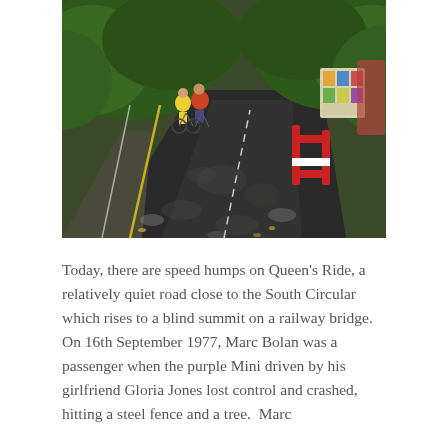[Figure (photo): Two cyclists riding away from camera on a shaded road (Queen's Ride). Trees line both sides. A yellow centre line runs along the left. On the right side there is a red barrier and a memorial shrine decorated with photos and items attached to the fence/tree.]
Today, there are speed humps on Queen's Ride, a relatively quiet road close to the South Circular which rises to a blind summit on a railway bridge.  On 16th September 1977, Marc Bolan was a passenger when the purple Mini driven by his girlfriend Gloria Jones lost control and crashed, hitting a steel fence and a tree.  Marc